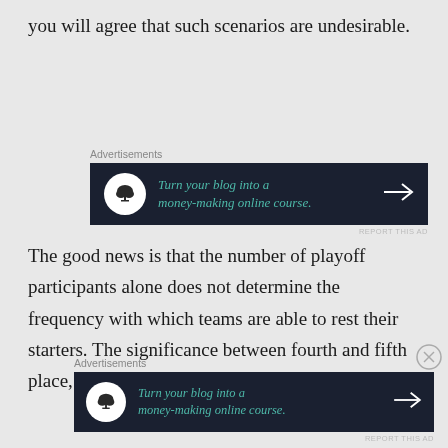you will agree that such scenarios are undesirable.
[Figure (other): Advertisement banner: dark background with bonsai tree icon, text 'Turn your blog into a money-making online course.' with arrow, labeled 'Advertisements' and 'REPORT THIS AD']
The good news is that the number of playoff participants alone does not determine the frequency with which teams are able to rest their starters. The significance between fourth and fifth place, for example, depends on the overall
[Figure (other): Advertisement banner (second): dark background with bonsai tree icon, text 'Turn your blog into a money-making online course.' with arrow, labeled 'Advertisements' and 'REPORT THIS AD']